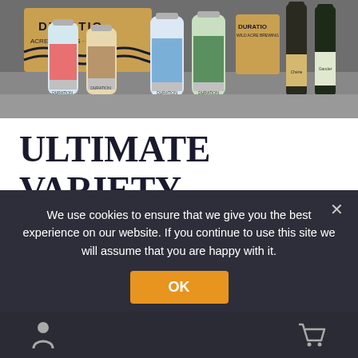[Figure (photo): Product photo showing multiple Duration Brewing beer cans and bottles arranged on a surface, with Duration Brewing branded boxes in the background.]
ULTIMATE VARIETY BOX
£84.84
Variety (quantity)
We use cookies to ensure that we give you the best experience on our website. If you continue to use this site we will assume that you are happy with it.